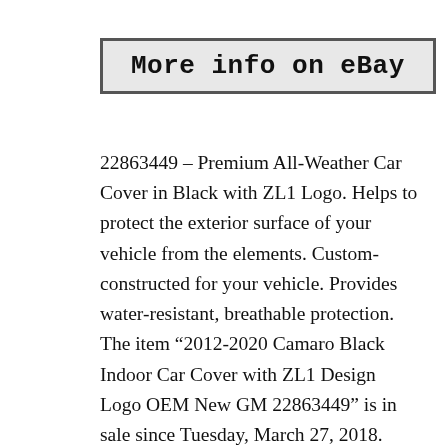[Figure (other): Button/link labeled 'More info on eBay' with a bordered box style]
22863449 – Premium All-Weather Car Cover in Black with ZL1 Logo. Helps to protect the exterior surface of your vehicle from the elements. Custom-constructed for your vehicle. Provides water-resistant, breathable protection. The item “2012-2020 Camaro Black Indoor Car Cover with ZL1 Design Logo OEM New GM 22863449” is in sale since Tuesday, March 27, 2018. This item is in the category “eBay Motors\Parts & Accessories\Car & Truck Parts\Exterior\Car Covers”. The seller is “gmpartsdirect” and is located in Lincolnton, North Carolina. This item can be shipped to United States, Canada, United Kingdom, Australia, Mexico, Germany, Japan, Denmark,